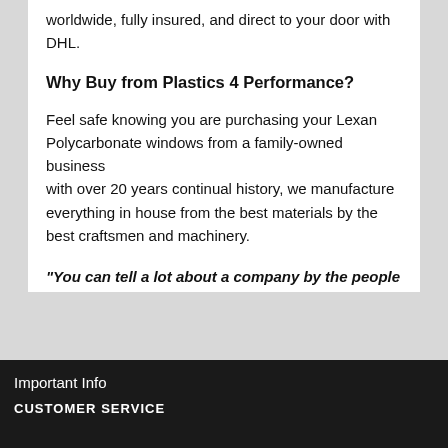worldwide, fully insured, and direct to your door with DHL.
Why Buy from Plastics 4 Performance?
Feel safe knowing you are purchasing your Lexan Polycarbonate windows from a family-owned business with over 20 years continual history, we manufacture everything in house from the best materials by the best craftsmen and machinery.
"You can tell a lot about a company by the people they supply to - and at Plastics 4 Performance we supply to the best"
Important Info
CUSTOMER SERVICE